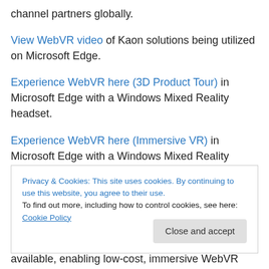channel partners globally.
View WebVR video of Kaon solutions being utilized on Microsoft Edge.
Experience WebVR here (3D Product Tour) in Microsoft Edge with a Windows Mixed Reality headset.
Experience WebVR here (Immersive VR) in Microsoft Edge with a Windows Mixed Reality headset.
Privacy & Cookies: This site uses cookies. By continuing to use this website, you agree to their use. To find out more, including how to control cookies, see here: Cookie Policy
available, enabling low-cost, immersive WebVR